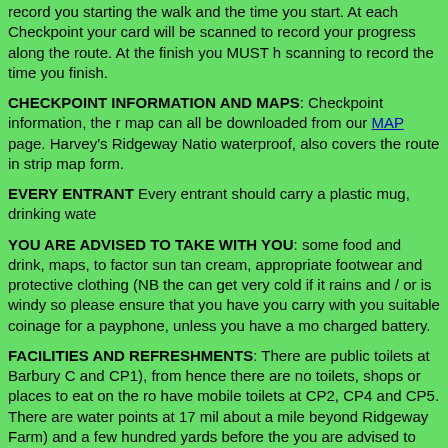record you starting the walk and the time you start. At each Checkpoint your card will be scanned to record your progress along the route. At the finish you MUST have your card scanned to record the time you finish.
CHECKPOINT INFORMATION AND MAPS: Checkpoint information, the route description and map can all be downloaded from our MAP page. Harvey's Ridgeway National Trail map, which is waterproof, also covers the route in strip map form.
EVERY ENTRANT Every entrant should carry a plastic mug, drinking water...
YOU ARE ADVISED TO TAKE WITH YOU: some food and drink, maps, torch, whistle, high factor sun tan cream, appropriate footwear and protective clothing (NB the Ridgeway can get very cold if it rains and / or is windy so please ensure that you have warm clothing), you carry with you suitable coinage for a payphone, unless you have a mobile with a fully charged battery.
FACILITIES AND REFRESHMENTS: There are public toilets at Barbury Castle (the start and CP1), from hence there are no toilets, shops or places to eat on the route. We will have mobile toilets at CP2, CP4 and CP5. There are water points at 17 miles (Wayland's Smithy, about a mile beyond Ridgeway Farm) and a few hundred yards before the finish. Although you are advised to carry food and drink with you, the entry fee includes light refreshments that may be provided at one CP and water and squash at all other CPs except the last. Food is available at the finish.
INJURY OR LOSS: participation is entirely at the entrant's risk
CERTIFICATES, RESULTS, BADGES AND AWARDS: Individual electronic certificates for all those who complete the walk. The results and walk report will be available on the website as soon as practical after the walk. Badges will be on sale for £2 each. There are various other badges and awards for walkers who have successfully completed the Ridgeway Walk. These must be collected at the finish and before you leave as they...